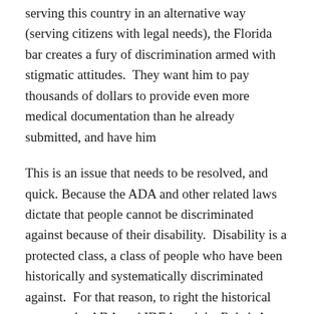serving this country in an alternative way (serving citizens with legal needs), the Florida bar creates a fury of discrimination armed with stigmatic attitudes. They want him to pay thousands of dollars to provide even more medical documentation than he already submitted, and have him
This is an issue that needs to be resolved, and quick. Because the ADA and other related laws dictate that people cannot be discriminated against because of their disability. Disability is a protected class, a class of people who have been historically and systematically discriminated against. For that reason, to right the historical wrongs, the ADA and IDEA and the Rehab Act all were created to dismantle this wrongful discrimination. Yet, the ABA and state bar's haven't followed suit.